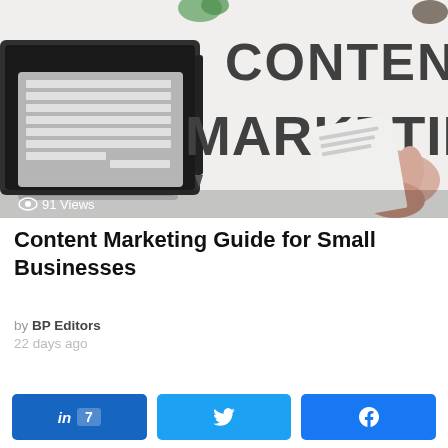[Figure (photo): Overhead photo of a keyboard, glasses, pen, and a hand pointing at large block letters spelling CONTENT MARKETING on a white surface. A view count badge '91 Views' appears in the lower left of the image.]
Content Marketing Guide for Small Businesses
by BP Editors
22 days ago